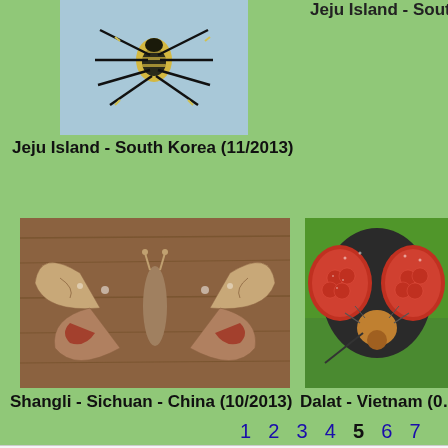Jeju Island - South Kor…
[Figure (photo): Close-up photo of a spider with yellow and black markings on its abdomen, legs spread out, on a light blue background. Jeju Island - South Korea]
Jeju Island - South Korea (11/2013)
[Figure (photo): Photo of a moth with brown and reddish patterned wings resting on a wooden surface. Shangli - Sichuan - China (10/2013)]
[Figure (photo): Close-up macro photo of a fly's head showing large red compound eyes, on a green leaf. Dalat - Vietnam]
Shangli - Sichuan - China (10/2013)
Dalat - Vietnam (0…
1 2 3 4 5 6 7
Like most websites, we use cookies. We use them in order to deliver a personalized service, to improve our site, and to deliver ads.
Got it!